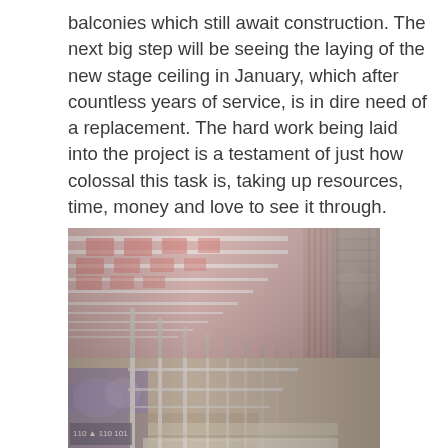balconies which still await construction. The next big step will be seeing the laying of the new stage ceiling in January, which after countless years of service, is in dire need of a replacement. The hard work being laid into the project is a testament of just how colossal this task is, taking up resources, time, money and love to see it through.
[Figure (photo): Interior photograph of a theatre or hall under renovation, showing scaffolding poles standing in rows along the floor, a pink-painted ceiling with white decorative grid panels overhead, ornate columns on the right side, and decorative painted murals visible at the lower left. The space appears mid-restoration.]